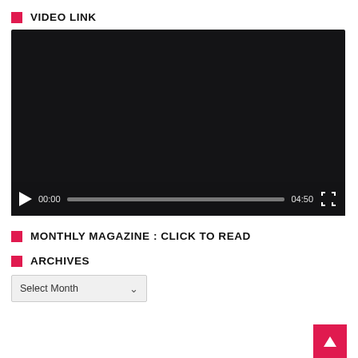VIDEO LINK
[Figure (screenshot): Video player with black screen, controls showing play button, time 00:00, progress bar, duration 04:50, and fullscreen button]
MONTHLY MAGAZINE : CLICK TO READ
ARCHIVES
Select Month
[Figure (other): Back to top button (pink/red square with upward arrow)]